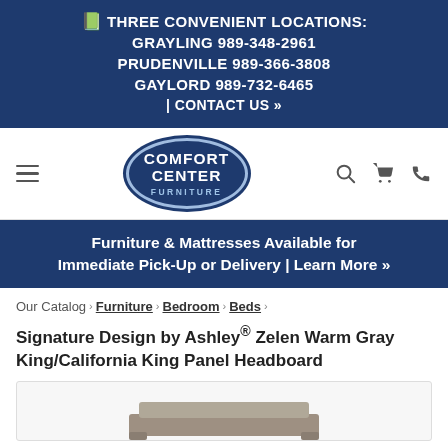THREE CONVENIENT LOCATIONS: GRAYLING 989-348-2961 PRUDENVILLE 989-366-3808 GAYLORD 989-732-6465 | CONTACT US »
[Figure (logo): Comfort Center Furniture oval logo in dark blue with white text]
Furniture & Mattresses Available for Immediate Pick-Up or Delivery | Learn More »
Our Catalog > Furniture > Bedroom > Beds > Signature Design by Ashley® Zelen Warm Gray King/California King Panel Headboard
Signature Design by Ashley® Zelen Warm Gray King/California King Panel Headboard
[Figure (photo): Product image of headboard - partially visible at bottom of page]